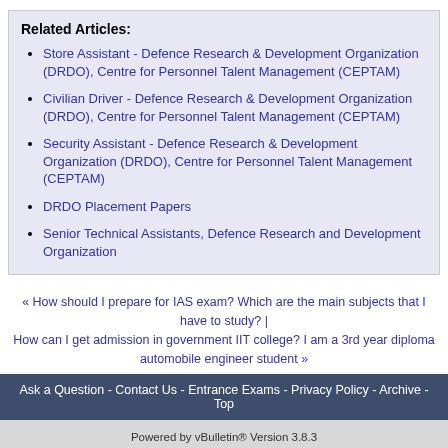Related Articles:
Store Assistant - Defence Research & Development Organization (DRDO), Centre for Personnel Talent Management (CEPTAM)
Civilian Driver - Defence Research & Development Organization (DRDO), Centre for Personnel Talent Management (CEPTAM)
Security Assistant - Defence Research & Development Organization (DRDO), Centre for Personnel Talent Management (CEPTAM)
DRDO Placement Papers
Senior Technical Assistants, Defence Research and Development Organization
« How should I prepare for IAS exam? Which are the main subjects that I have to study? | How can I get admission in government IIT college? I am a 3rd year diploma automobile engineer student »
Ask a Question - Contact Us - Entrance Exams - Privacy Policy - Archive - Top
Powered by vBulletin® Version 3.8.3 Copyright ©2000 - 2022, Jelsoft Enterprises Ltd. Search Engine Optimization by vBSEO 3.3.0 vBulletin Optimisation by vB Optimise.